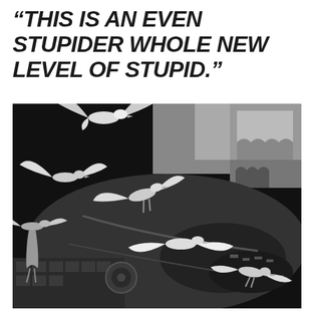“THIS IS AN EVEN STUPIDER WHOLE NEW LEVEL OF STUPID.”
[Figure (photo): Black and white photograph showing multiple seagulls in flight over an aerial view of what appears to a coastal city or resort area with buildings, arcades, and a harbor with boats. The image is high-contrast monochrome.]